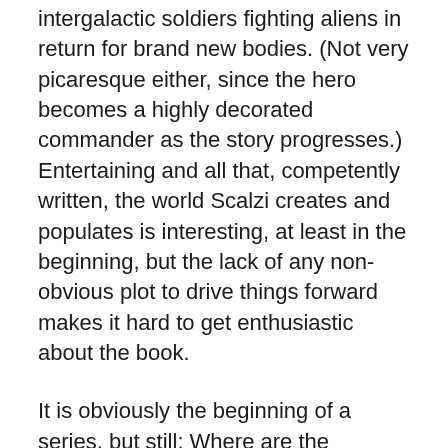intergalactic soldiers fighting aliens in return for brand new bodies. (Not very picaresque either, since the hero becomes a highly decorated commander as the story progresses.) Entertaining and all that, competently written, the world Scalzi creates and populates is interesting, at least in the beginning, but the lack of any non-obvious plot to drive things forward makes it hard to get enthusiastic about the book.
It is obviously the beginning of a series, but still: Where are the surprises, the plot twists, the exciting insights? Not to mention, where are the personalities – these old people going out to fight a war all seem very cartoonish, without much difference in what they say and do, and certainly not much reflection about the task their are given, a few tactical shrewdnesses excepted. They all seem to shelve a lifetime of experience (and, presumably, thought) in favor